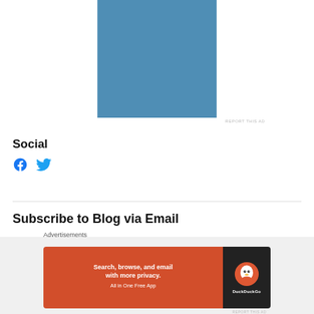[Figure (other): Blue advertisement rectangle placeholder block]
REPORT THIS AD
Social
[Figure (other): Facebook and Twitter social media icons in blue]
Subscribe to Blog via Email
Enter your email address to subscribe to this blog and receive
Advertisements
[Figure (other): DuckDuckGo advertisement banner: Search, browse, and email with more privacy. All in One Free App]
REPORT THIS AD